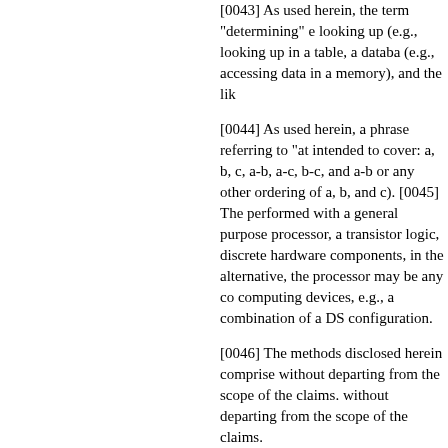[0043] As used herein, the term "determining" encompasses looking up (e.g., looking up in a table, a database (e.g., accessing data in a memory), and the like.
[0044] As used herein, a phrase referring to "at intended to cover: a, b, c, a-b, a-c, b-c, and a-b or any other ordering of a, b, and c). [0045] The performed with a general purpose processor, a transistor logic, discrete hardware components, in the alternative, the processor may be any computing devices, e.g., a combination of a DS configuration.
[0046] The methods disclosed herein comprise without departing from the scope of the claims. without departing from the scope of the claims.
[0047] The functions described may be implem comprise a processing system in a wireless no bridges depending on the specific application readable media, and a bus interface. The bus i used to implement the signal processing functi connected to the bus. The bus may also link va the art, and therefore, will not be described any
[0048] The processing system may be configur providing at least a portion of the machine-read be implemented with an ASIC with the process media integrated into a single chip, or with one combination of circuits that can perform the var functionality for the processing system dependi
[0049] It is to be understood that the claims are